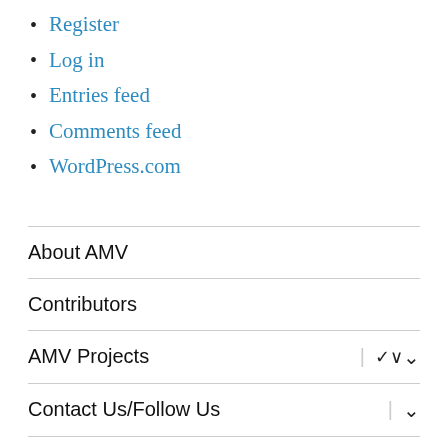Register
Log in
Entries feed
Comments feed
WordPress.com
About AMV
Contributors
AMV Projects
Contact Us/Follow Us
Comments Policy